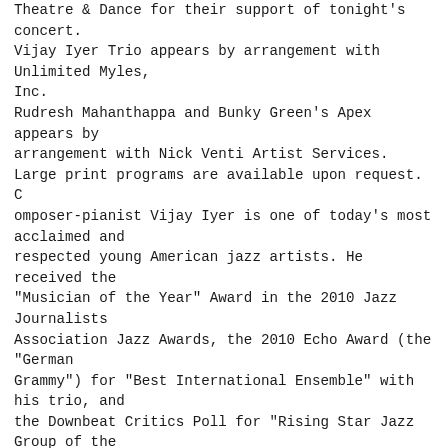Theatre & Dance for their support of tonight's concert. Vijay Iyer Trio appears by arrangement with Unlimited Myles, Inc. Rudresh Mahanthappa and Bunky Green's Apex appears by arrangement with Nick Venti Artist Services. Large print programs are available upon request. Composer-pianist Vijay Iyer is one of today's most acclaimed and respected young American jazz artists. He received the "Musician of the Year" Award in the 2010 Jazz Journalists Association Jazz Awards, the 2010 Echo Award (the "German Grammy") for "Best International Ensemble" with his trio, and the Downbeat Critics Poll for "Rising Star Jazz Group of the Year." His latest recordings on the ACT label include Solo (2010) and the trio album Historicity (2009). Historicity is nominated fora 2011 Grammy Award for "Best Instrumental Jazz Album" and was named "Jazz Album of the Year" by The New York Times, the Chicago Tribune, the Los Angeles Times, National Public Radio, the annual Village Voice Jazz Critics Poll, and the Downbeat International Critics Poll. In the past decade, Mr. Iyer has won the Downbeat Poll in multiple categories, the JJA Jazz Award for "Up & Coming Musician of the Year," the CalArts Alpert Award in the Arts, the New York Foundation for the Arts